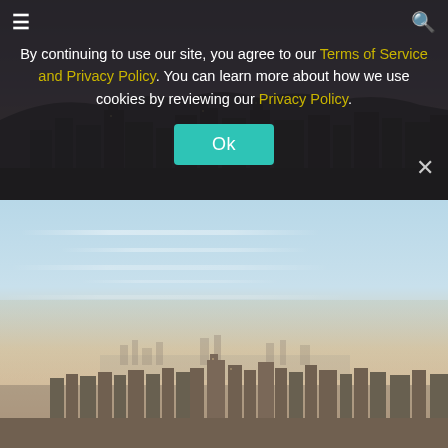[Figure (photo): Dark city skyline silhouette at dusk with purple-gray sky, showing tall buildings]
By continuing to use our site, you agree to our Terms of Service and Privacy Policy. You can learn more about how we use cookies by reviewing our Privacy Policy.
[Figure (photo): Aerial daytime view of Los Angeles city skyline with hazy blue-white sky and urban sprawl extending to the horizon]